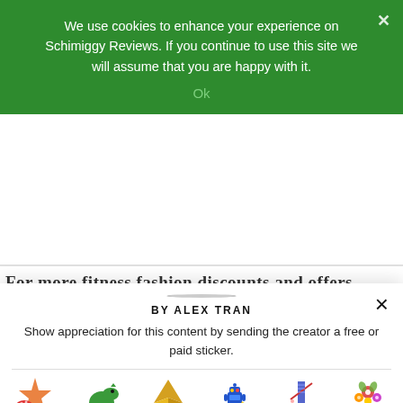We use cookies to enhance your experience on Schimiggy Reviews. If you continue to use this site we will assume that you are happy with it.
Ok
For more fitness fashion discounts and offers...
[Figure (photo): Circular avatar photo of Alex Tran, a person wearing a dark polka-dot outfit and a wide-brimmed hat]
BY ALEX TRAN
Show appreciation for this content by sending the creator a free or paid sticker.
| Sticker | Price |
| --- | --- |
| Free sticker (star/mushroom) | Free |
| Dinosaur sticker | $1.00 |
| Origami crane sticker | $2.00 |
| Robot sticker | $4.00 |
| Sock/knitting sticker | $8.00 |
| Flower bouquet sticker | $12.00 |